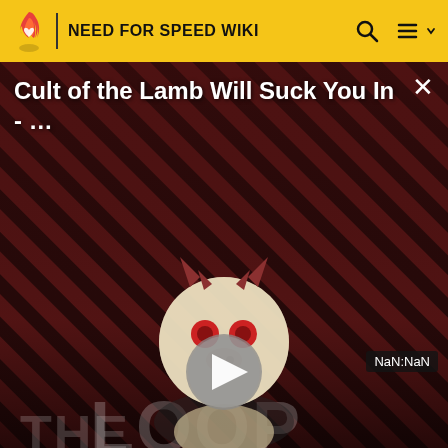NEED FOR SPEED WIKI
[Figure (screenshot): Video overlay for 'Cult of the Lamb Will Suck You In - ...' with a diagonal red/black striped background, a cartoon character mascot, a play button, and NaN:NaN timestamp. Shows 'THE LOOP' text in background. Has a close (×) button.]
Ford GT Interceptor — Earn 235,000 cop bounty. Cop | Speed Enforcement Unit
Ford Shelby GT500 — Earn 1,178,000 racer bounty.